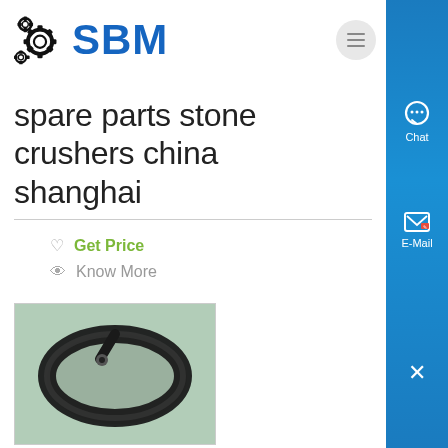[Figure (logo): SBM logo with gear/cog icon in black and blue bold text]
spare parts stone crushers china shanghai
Get Price
Know More
[Figure (photo): Photo of a black rubber/cable O-ring or seal coiled on a green surface]
stone crusher manufacturer in china